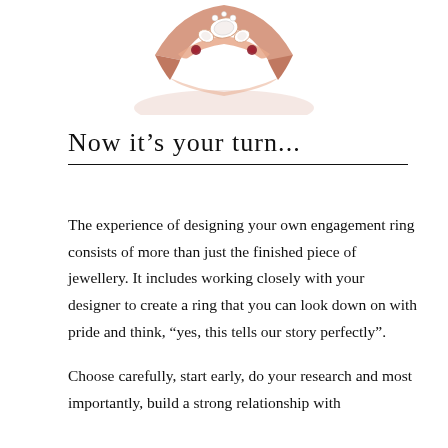[Figure (photo): Partial view of a rose gold engagement ring with diamonds and ruby-colored gemstones, photographed from above on a white background.]
Now it's your turn...
The experience of designing your own engagement ring consists of more than just the finished piece of jewellery. It includes working closely with your designer to create a ring that you can look down on with pride and think, “yes, this tells our story perfectly”.
Choose carefully, start early, do your research and most importantly, build a strong relationship with